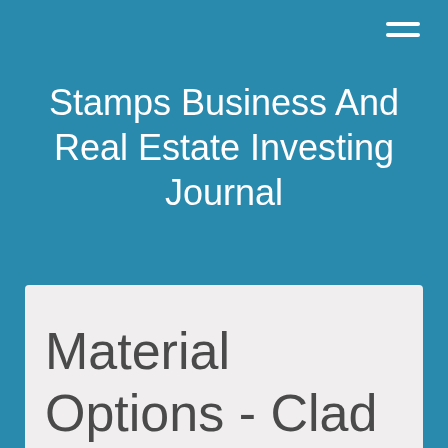Stamps Business And Real Estate Investing Journal
Material Options - Clad Wood Vinyl